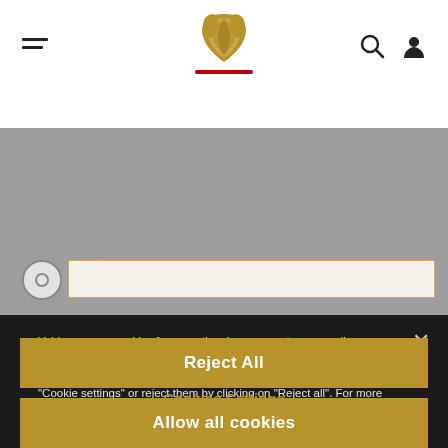[Figure (screenshot): Valrhona website header with hamburger menu, gold lotus logo with red underline, search and profile icons on gray background]
Valrhona uses cookies for operational purposes, to personalize your experience and to analyze statistics. You can accept these cookies by clicking on "Allow all cookies", modify your preferences by clicking on "Cookie settings" or reject them by clicking on "Reject all". For more information about our Cookie Policy, click here
Cookies Settings
Reject All
Allow all cookies